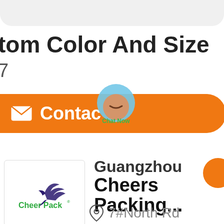tom Color And Size
7
et Best Price
Contac
[Figure (logo): Cheer Pack logo with bird graphic]
Guangzhou Cheers Packing...
7#North Rd